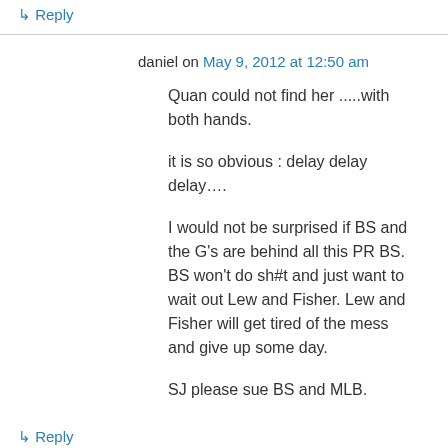↳ Reply
daniel on May 9, 2012 at 12:50 am
Quan could not find her .....with both hands.

it is so obvious : delay delay delay....

I would not be surprised if BS and the G's are behind all this PR BS. BS won't do sh#t and just want to wait out Lew and Fisher. Lew and Fisher will get tired of the mess and give up some day.

SJ please sue BS and MLB.
↳ Reply
Dan on May 9, 2012 at 1:05 am